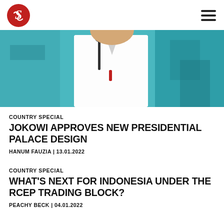S (logo) | hamburger menu
[Figure (photo): A man in a white shirt speaking at a podium with a microphone, photographed from the chest up against a teal/blue background.]
COUNTRY SPECIAL
JOKOWI APPROVES NEW PRESIDENTIAL PALACE DESIGN
HANUM FAUZIA | 13.01.2022
COUNTRY SPECIAL
WHAT'S NEXT FOR INDONESIA UNDER THE RCEP TRADING BLOCK?
PEACHY BECK | 04.01.2022